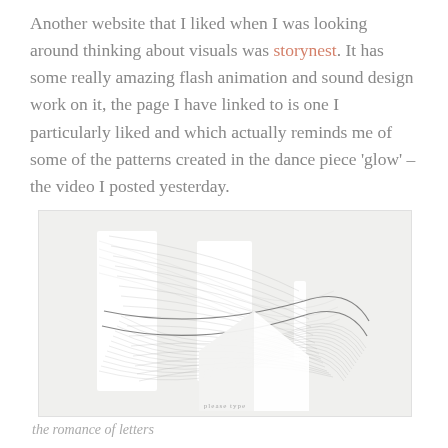Another website that I liked when I was looking around thinking about visuals was storynest. It has some really amazing flash animation and sound design work on it, the page I have linked to is one I particularly liked and which actually reminds me of some of the patterns created in the dance piece 'glow' – the video I posted yesterday.
[Figure (screenshot): Screenshot of the storynest website showing abstract flowing line art resembling feathers or calligraphic strokes on a light grey background, with the text 'please type' at the bottom.]
the romance of letters